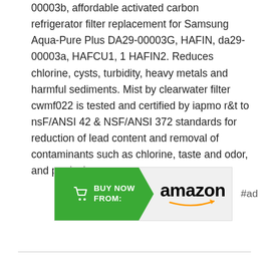00003b, affordable activated carbon refrigerator filter replacement for Samsung Aqua-Pure Plus DA29-00003G, HAFIN, da29-00003a, HAFCU1, 1 HAFIN2. Reduces chlorine, cysts, turbidity, heavy metals and harmful sediments. Mist by clearwater filter cwmf022 is tested and certified by iapmo r&t to nsF/ANSI 42 & NSF/ANSI 372 standards for reduction of lead content and removal of contaminants such as chlorine, taste and odor, and particulates.
[Figure (other): Amazon 'BUY NOW FROM' advertisement button in green with shopping cart icon, followed by Amazon logo with orange arrow smile, and '#ad' label]